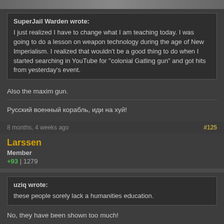[Figure (photo): Top strip showing partial images/avatars]
SuperJail Warden wrote:
I just realized I have to change what I am teaching today. I was going to do a lesson on weapon technology during the age of New Imperialism. I realized that wouldn't be a good thing to do when I started searching in YouTube for "colonial Gatling gun" and got hits from yesterday's event.
Also the maxim gun.
Русский военный корабль, иди на хуй!
8 months, 4 weeks ago
#125
Larssen
Member
+93 | 1279
uziq wrote:
these people sorely lack a humanities education.
No, they have been shown too much!
In a world of serfs, knowledge could be closely guarded, so that those with an obvious talent for tilling fields, building decks and calculating the circumference of a bunch of tubes needn't be distracted from the task at hand.